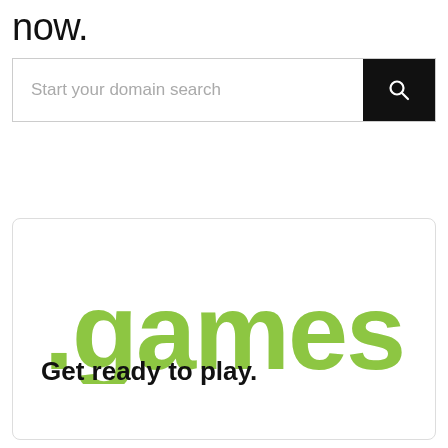now.
[Figure (screenshot): Search bar with placeholder text 'Start your domain search' and a black search button with magnifying glass icon]
[Figure (logo): Card containing .games domain logo in green and tagline 'Get ready to play.']